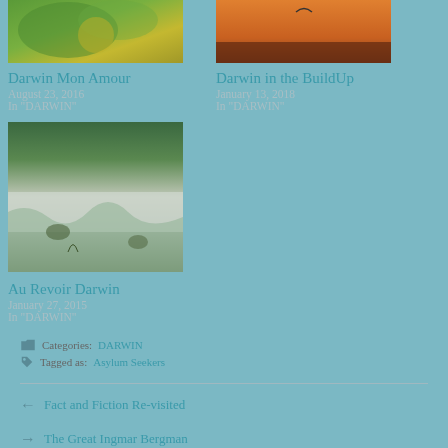[Figure (photo): Thumbnail image of green corn/plant foliage]
Darwin Mon Amour
August 23, 2016
In "DARWIN"
[Figure (photo): Thumbnail image of orange sunset sky with bird silhouette]
Darwin in the BuildUp
January 13, 2018
In "DARWIN"
[Figure (photo): Thumbnail image of waterfall with people playing in water]
Au Revoir Darwin
January 27, 2015
In "DARWIN"
Categories: DARWIN
Tagged as: Asylum Seekers
← Fact and Fiction Re-visited
→ The Great Ingmar Bergman